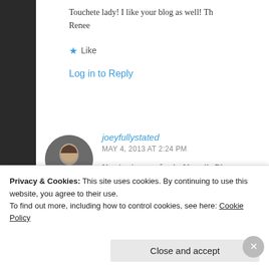Touchete lady! I like your blog as well! Th
Renee
Like
Log in to Reply
joeyfullystated
MAY 4, 2013 AT 2:24 PM
Nominating you for the Versatile Blogger Award —
post again soon! Best Wishes,
Privacy & Cookies: This site uses cookies. By continuing to use this website, you agree to their use.
To find out more, including how to control cookies, see here: Cookie Policy
Close and accept